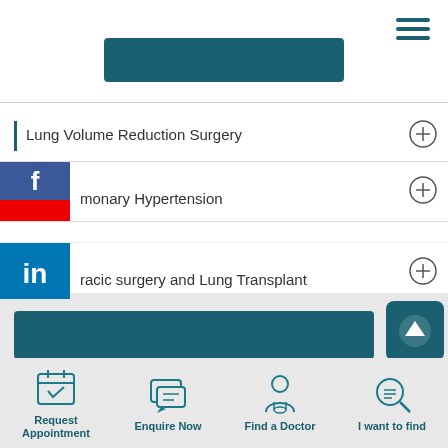[Figure (screenshot): Teal/dark-cyan rectangular banner at top center of page]
[Figure (infographic): Hamburger menu icon (three horizontal lines) in dark teal, top-right corner]
Lung Volume Reduction Surgery
monary Hypertension
racic surgery and Lung Transplant
[Figure (logo): Facebook social media icon overlay on second list item]
[Figure (logo): LinkedIn social media icon overlay on third list item]
[Figure (screenshot): Teal rectangular banner in footer area]
[Figure (infographic): Back to top button with upward arrow, dark teal rounded square, bottom right]
Request Appointment
Enquire Now
Find a Doctor
I want to find